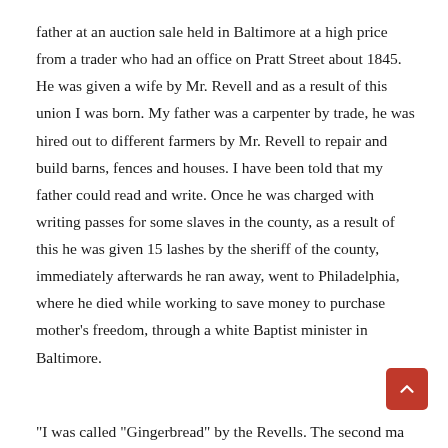father at an auction sale held in Baltimore at a high price from a trader who had an office on Pratt Street about 1845. He was given a wife by Mr. Revell and as a result of this union I was born. My father was a carpenter by trade, he was hired out to different farmers by Mr. Revell to repair and build barns, fences and houses. I have been told that my father could read and write. Once he was charged with writing passes for some slaves in the county, as a result of this he was given 15 lashes by the sheriff of the county, immediately afterwards he ran away, went to Philadelphia, where he died while working to save money to purchase mother's freedom, through a white Baptist minister in Baltimore.
"I was called "Gingerbread" by the Revells. The second ma...